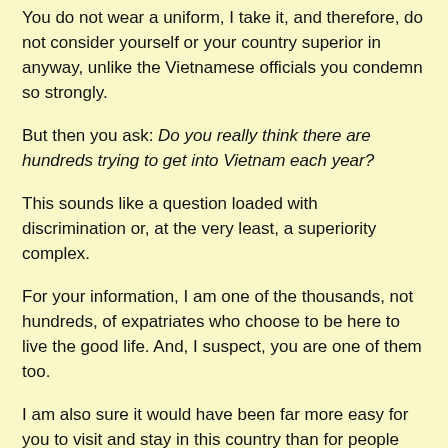You do not wear a uniform, I take it, and therefore, do not consider yourself or your country superior in anyway, unlike the Vietnamese officials you condemn so strongly.
But then you ask: Do you really think there are hundreds trying to get into Vietnam each year?
This sounds like a question loaded with discrimination or, at the very least, a superiority complex.
For your information, I am one of the thousands, not hundreds, of expatriates who choose to be here to live the good life. And, I suspect, you are one of them too.
I am also sure it would have been far more easy for you to visit and stay in this country than for people from Vietnam to visit Australia and other so-called developed countries.